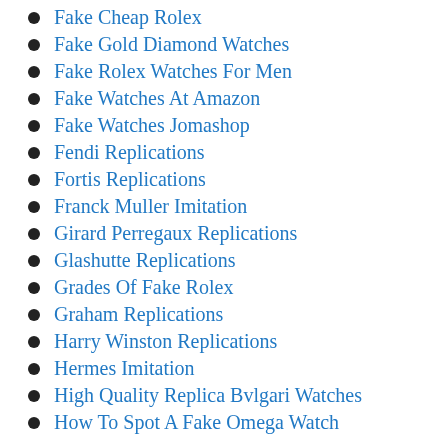Fake Cheap Rolex
Fake Gold Diamond Watches
Fake Rolex Watches For Men
Fake Watches At Amazon
Fake Watches Jomashop
Fendi Replications
Fortis Replications
Franck Muller Imitation
Girard Perregaux Replications
Glashutte Replications
Grades Of Fake Rolex
Graham Replications
Harry Winston Replications
Hermes Imitation
High Quality Replica Bvlgari Watches
How To Spot A Fake Omega Watch